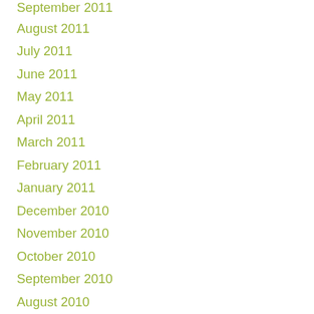September 2011
August 2011
July 2011
June 2011
May 2011
April 2011
March 2011
February 2011
January 2011
December 2010
November 2010
October 2010
September 2010
August 2010
July 2010
June 2010